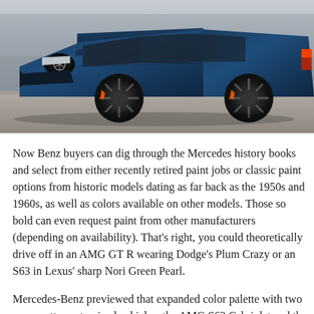[Figure (photo): A dark blue Mercedes-AMG E63 wagon/estate parked outdoors, viewed from a front three-quarter angle. The car has large black multi-spoke wheels with orange brake calipers visible, aggressive front bumper styling, and the Mercedes star logo on the hood.]
Now Benz buyers can dig through the Mercedes history books and select from either recently retired paint jobs or classic paint options from historic models dating as far back as the 1950s and 1960s, as well as colors available on other models. Those so bold can even request paint from other manufacturers (depending on availability). That's right, you could theoretically drive off in an AMG GT R wearing Dodge's Plum Crazy or an S63 in Lexus' sharp Nori Green Pearl.
Mercedes-Benz previewed that expanded color palette with two very pretty customized vehicles: the AMG S63 Cabriolet and the